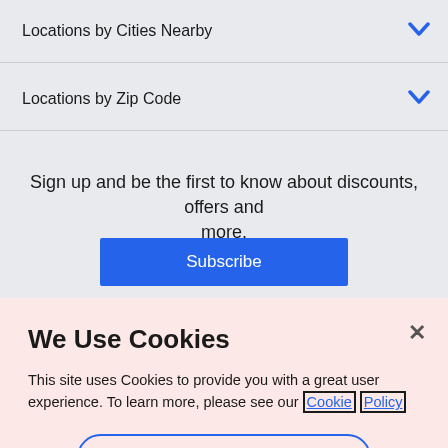Locations by Cities Nearby
Locations by Zip Code
Sign up and be the first to know about discounts, offers and more.
Subscribe
We Use Cookies
This site uses Cookies to provide you with a great user experience. To learn more, please see our Cookie Policy
Cookie Preference Center
Accept All Cookies